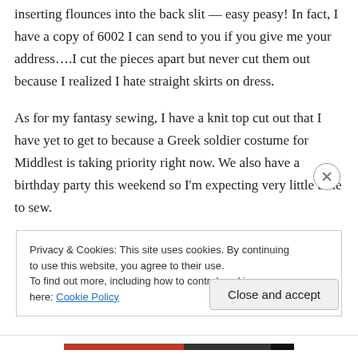inserting flounces into the back slit — easy peasy! In fact, I have a copy of 6002 I can send to you if you give me your address….I cut the pieces apart but never cut them out because I realized I hate straight skirts on dress.
As for my fantasy sewing, I have a knit top cut out that I have yet to get to because a Greek soldier costume for Middlest is taking priority right now. We also have a birthday party this weekend so I'm expecting very little time to sew.
Privacy & Cookies: This site uses cookies. By continuing to use this website, you agree to their use.
To find out more, including how to control cookies, see here: Cookie Policy